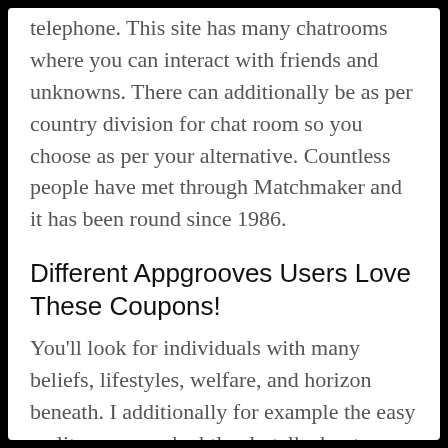telephone. This site has many chatrooms where you can interact with friends and unknowns. There can additionally be as per country division for chat room so you choose as per your alternative. Countless people have met through Matchmaker and it has been round since 1986.
Different Appgrooves Users Love These Coupons!
You'll look for individuals with many beliefs, lifestyles, welfare, and horizon beneath. I additionally for example the easy reality you can doubtlessly talk about numerous content material in reveals. Everything is appropriate, as